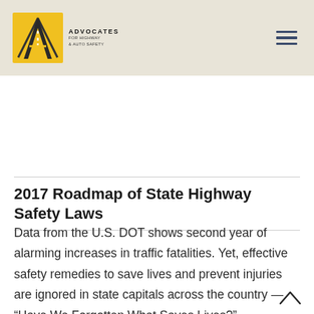Advocates for Highway & Auto Safety
2017 Roadmap of State Highway Safety Laws
Data from the U.S. DOT shows second year of alarming increases in traffic fatalities. Yet, effective safety remedies to save lives and prevent injuries are ignored in state capitals across the country — “Have We Forgotten What Saves Lives?”